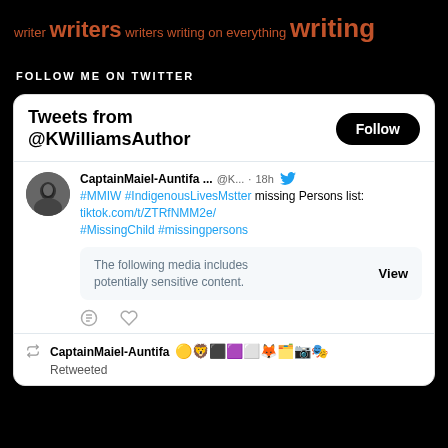writer writers writers writing on everything writing
FOLLOW ME ON TWITTER
[Figure (screenshot): Twitter widget showing tweets from @KWilliamsAuthor with a Follow button, a tweet from CaptainMaiel-Auntifa about #MMIW #IndigenousLivesMstter with a sensitive media warning, and a retweet row.]